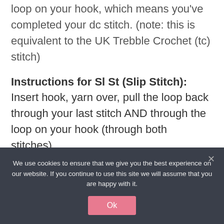loop on your hook, which means you've completed your dc stitch. (note: this is equivalent to the UK Trebble Crochet (tc) stitch)
Instructions for Sl St (Slip Stitch): Insert hook, yarn over, pull the loop back through your last stitch AND through the loop on your hook (through both stitches).
Instructions for Fastening Off: After
We use cookies to ensure that we give you the best experience on our website. If you continue to use this site we will assume that you are happy with it.
Ok